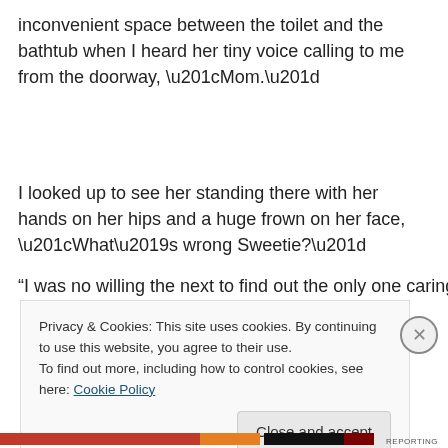inconvenient space between the toilet and the bathtub when I heard her tiny voice calling to me from the doorway, “Mom.”
I looked up to see her standing there with her hands on her hips and a huge frown on her face, “What’s wrong Sweetie?”
“…”
Privacy & Cookies: This site uses cookies. By continuing to use this website, you agree to their use.
To find out more, including how to control cookies, see here: Cookie Policy
Close and accept